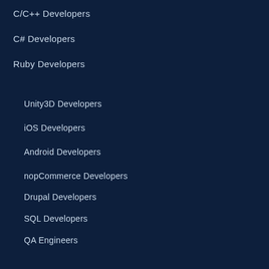C/C++ Developers
C# Developers
Ruby Developers
Unity3D Developers
iOS Developers
Android Developers
nopCommerce Developers
Drupal Developers
SQL Developers
QA Engineers
UI/UX Designers
Product Owner
Scrum Master
DevOps Engineer